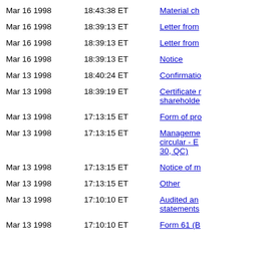Mar 16 1998  18:43:38 ET  Material ch...
Mar 16 1998  18:39:13 ET  Letter from...
Mar 16 1998  18:39:13 ET  Letter from...
Mar 16 1998  18:39:13 ET  Notice
Mar 13 1998  18:40:24 ET  Confirmatio...
Mar 13 1998  18:39:19 ET  Certificate r... shareholde...
Mar 13 1998  17:13:15 ET  Form of pro...
Mar 13 1998  17:13:15 ET  Manageme... circular - E... 30, QC)
Mar 13 1998  17:13:15 ET  Notice of m...
Mar 13 1998  17:13:15 ET  Other
Mar 13 1998  17:10:10 ET  Audited an... statements...
Mar 13 1998  17:10:10 ET  Form 61 (B...